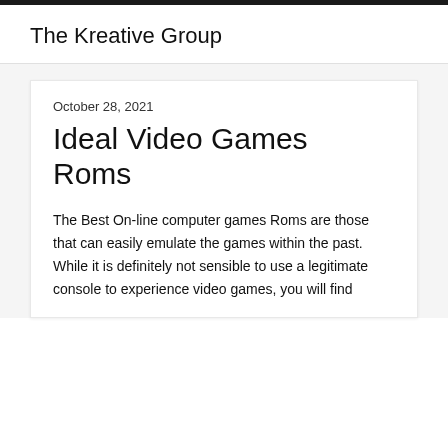The Kreative Group
October 28, 2021
Ideal Video Games Roms
The Best On-line computer games Roms are those that can easily emulate the games within the past. While it is definitely not sensible to use a legitimate console to experience video games, you will find